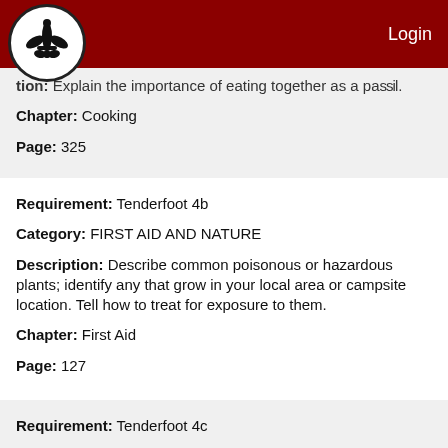Login
tion: Explain the importance of eating together as a pa...
Chapter: Cooking
Page: 325
Requirement: Tenderfoot 4b
Category: FIRST AID AND NATURE
Description: Describe common poisonous or hazardous plants; identify any that grow in your local area or campsite location. Tell how to treat for exposure to them.
Chapter: First Aid
Page: 127
Requirement: Tenderfoot 4c
Category: FIRST AID AND NATURE